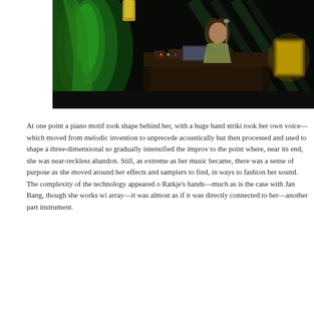[Figure (photo): A concert photo showing a performer at a keyboard/synthesizer setup on a dark stage. Green fabric or cloth is visible on the left side, and there is a yellow-lit object on the right. The scene is dark with stage lighting illuminating the performer who has long hair.]
At one point a piano motif took shape behind her, with a huge hand striking the keys projected onto the back screen as she took her own voice—which moved from melodic invention to unprecedented extremes, captured acoustically but then processed and used to shape a three-dimensional sound world—and gradually intensified the improv to the point where, near its end, she was performing with near-reckless abandon. Still, as extreme as her music became, there was always a clear sense of purpose as she moved around her effects and samplers to find, in real time, new ways to fashion her sound. The complexity of the technology appeared organic in Ratkje's hands—much as is the case with Jan Bang, though she works with a bigger array—it was almost as if it was directly connected to her—another part of her instrument.